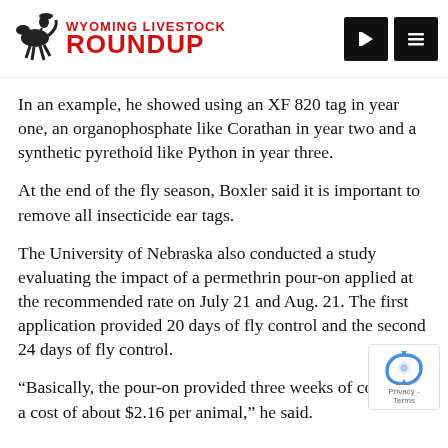Wyoming Livestock Roundup
In an example, he showed using an XF 820 tag in year one, an organophosphate like Corathan in year two and a synthetic pyrethoid like Python in year three.
At the end of the fly season, Boxler said it is important to remove all insecticide ear tags.
The University of Nebraska also conducted a study evaluating the impact of a permethrin pour-on applied at the recommended rate on July 21 and Aug. 21. The first application provided 20 days of fly control and the second 24 days of fly control.
“Basically, the pour-on provided three weeks of control at a cost of about $2.16 per animal,” he said.